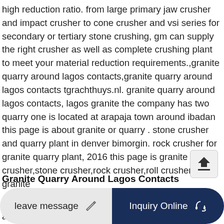high reduction ratio. from large primary jaw crusher and impact crusher to cone crusher and vsi series for secondary or tertiary stone crushing, gm can supply the right crusher as well as complete crushing plant to meet your material reduction requirements.,granite quarry around lagos contacts,granite quarry around lagos contacts tgrachthuys.nl. granite quarry around lagos contacts, lagos granite the company has two quarry one is located at arapaja town around ibadan this page is about granite or quarry . stone crusher and quarry plant in denver bimorgin. rock crusher for granite quarry plant, 2016 this page is granite impact crusher,stone crusher,rock crusher,roll crusher granite
Granite Quarry Around Lagos Contacts
granite quarry around lagos contacts anoonrchandrain granite